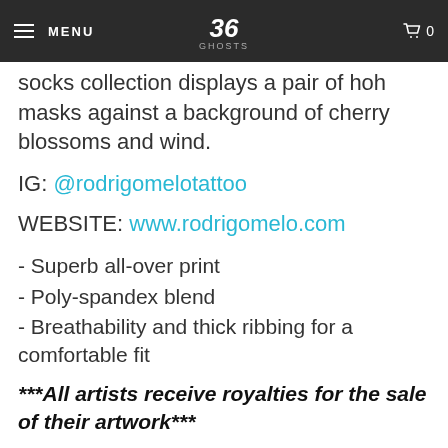MENU | 36 Ghosts | Cart 0
socks collection displays a pair of hoh masks against a background of cherry blossoms and wind.
IG: @rodrigomelotattoo
WEBSITE: www.rodrigomelo.com
- Superb all-over print
- Poly-spandex blend
- Breathability and thick ribbing for a comfortable fit
***All artists receive royalties for the sale of their artwork***
Pay in 4 interest-free installments for orders over $50 with Shop Pay Learn more